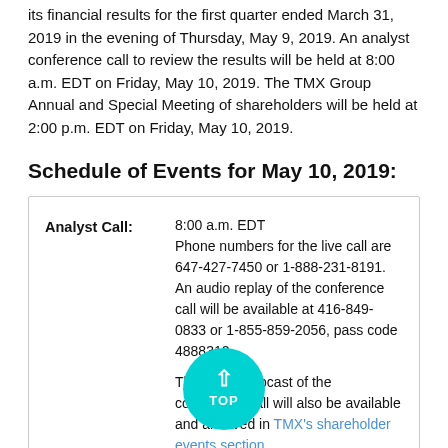its financial results for the first quarter ended March 31, 2019 in the evening of Thursday, May 9, 2019. An analyst conference call to review the results will be held at 8:00 a.m. EDT on Friday, May 10, 2019. The TMX Group Annual and Special Meeting of shareholders will be held at 2:00 p.m. EDT on Friday, May 10, 2019.
Schedule of Events for May 10, 2019:
|  | Details |
| --- | --- |
| Analyst Call: | 8:00 a.m. EDT
Phone numbers for the live call are 647-427-7450 or 1-888-231-8191. An audio replay of the conference call will be available at 416-849-0833 or 1-855-859-2056, pass code 4888312.

The audio webcast of the conference call will also be available and archived in TMX's shareholder events section. |
|  | 2:00 p.m. EDT
TMX Group...
100 Adelaide St. West, 6th floor
Toronto, Ontario |